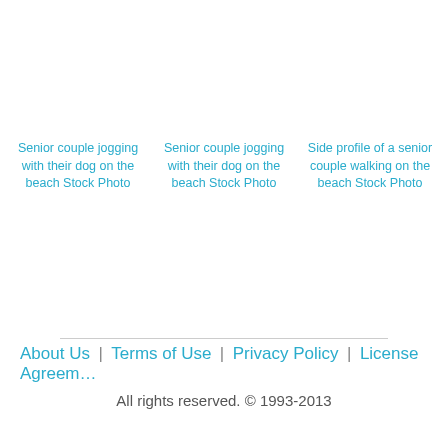Senior couple jogging with their dog on the beach Stock Photo
Senior couple jogging with their dog on the beach Stock Photo
Side profile of a senior couple walking on the beach Stock Photo
About Us | Terms of Use | Privacy Policy | License Agreement
All rights reserved. © 1993-2013